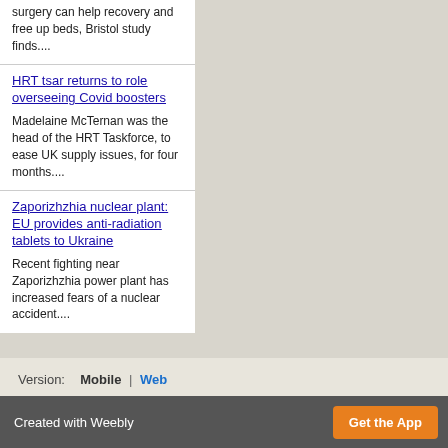surgery can help recovery and free up beds, Bristol study finds....
HRT tsar returns to role overseeing Covid boosters — Madelaine McTernan was the head of the HRT Taskforce, to ease UK supply issues, for four months....
Zaporizhzhia nuclear plant: EU provides anti-radiation tablets to Ukraine — Recent fighting near Zaporizhzhia power plant has increased fears of a nuclear accident....
Version: Mobile | Web
Created with Weebly  Get the App